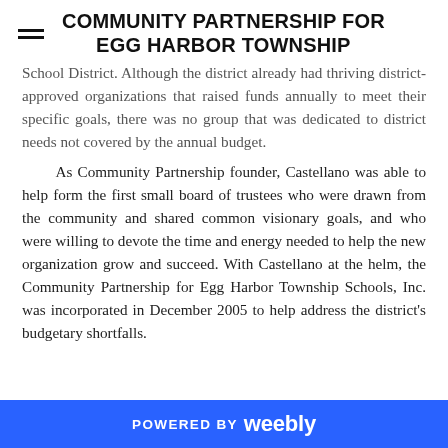COMMUNITY PARTNERSHIP FOR EGG HARBOR TOWNSHIP
School District. Although the district already had thriving district-approved organizations that raised funds annually to meet their specific goals, there was no group that was dedicated to district needs not covered by the annual budget.

As Community Partnership founder, Castellano was able to help form the first small board of trustees who were drawn from the community and shared common visionary goals, and who were willing to devote the time and energy needed to help the new organization grow and succeed. With Castellano at the helm, the Community Partnership for Egg Harbor Township Schools, Inc. was incorporated in December 2005 to help address the district's budgetary shortfalls.
POWERED BY weebly